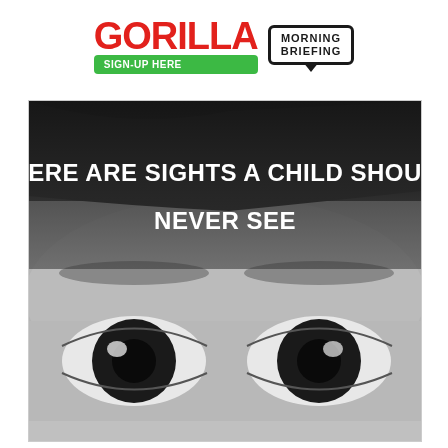[Figure (logo): Gorilla newspaper logo in red bold text with a green 'SIGN-UP HERE' button, and a 'MORNING BRIEFING' speech bubble badge]
[Figure (photo): Black and white close-up photo of a child's face showing forehead and wide eyes looking upward, with white bold text overlay reading 'THERE ARE SIGHTS A CHILD SHOULD NEVER SEE' on a dark semi-transparent band across the upper portion]